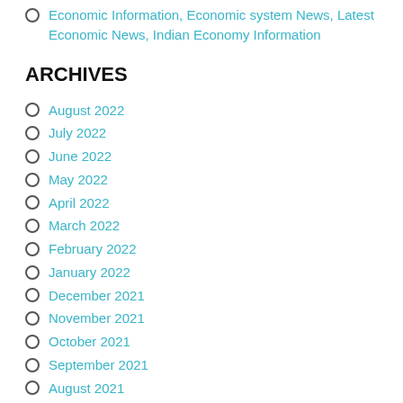Economic Information, Economic system News, Latest Economic News, Indian Economy Information
ARCHIVES
August 2022
July 2022
June 2022
May 2022
April 2022
March 2022
February 2022
January 2022
December 2021
November 2021
October 2021
September 2021
August 2021